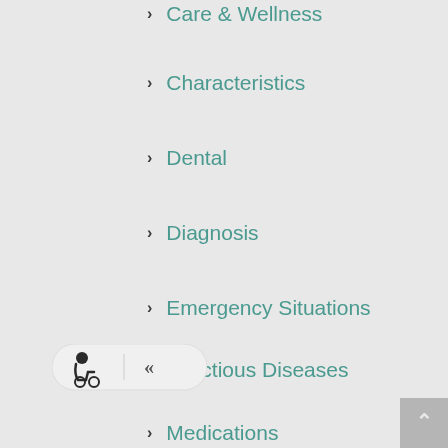Care & Wellness
Characteristics
Dental
Diagnosis
Emergency Situations
Infectious Diseases
Medications
Medical Conditions
Nutrition
Puppies
Parasites